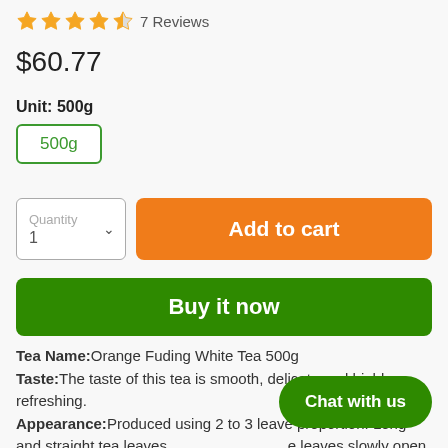[Figure (other): Star rating: 4.5 out of 5 stars, with label '7 Reviews']
$60.77
Unit: 500g
500g
Quantity 1
Add to cart
Buy it now
Tea Name:Orange Fuding White Tea 500g
Taste:The taste of this tea is smooth, delicate and highly refreshing.
Appearance:Produced using 2 to 3 leave proportion. Long and straight tea leaves. e leaves slowly open up resembling petals of a peony blossom.
Chat with us